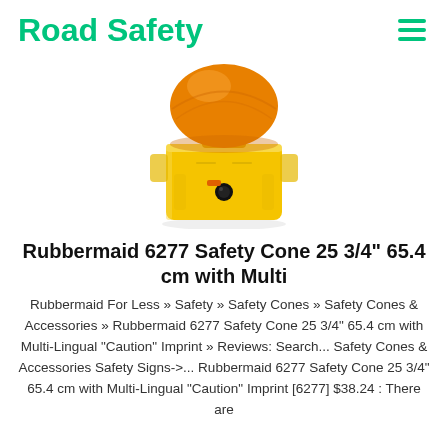Road Safety
[Figure (photo): Yellow and orange road safety barricade light / safety cone lamp with amber dome on top and yellow rectangular base with a black activation button, photographed from the side against a white background.]
Rubbermaid 6277 Safety Cone 25 3/4" 65.4 cm with Multi
Rubbermaid For Less » Safety » Safety Cones » Safety Cones & Accessories » Rubbermaid 6277 Safety Cone 25 3/4" 65.4 cm with Multi-Lingual "Caution" Imprint » Reviews: Search... Safety Cones & Accessories Safety Signs->... Rubbermaid 6277 Safety Cone 25 3/4" 65.4 cm with Multi-Lingual "Caution" Imprint [6277] $38.24 : There are